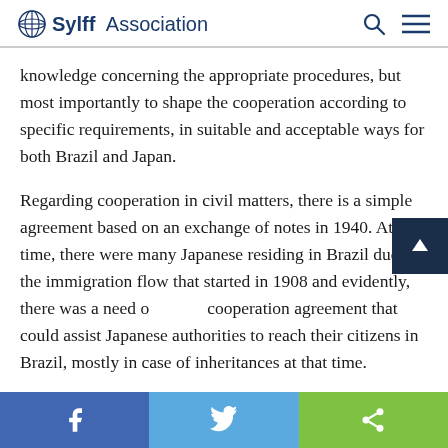Sylff Association
knowledge concerning the appropriate procedures, but most importantly to shape the cooperation according to specific requirements, in suitable and acceptable ways for both Brazil and Japan.
Regarding cooperation in civil matters, there is a simple agreement based on an exchange of notes in 1940. At that time, there were many Japanese residing in Brazil due to the immigration flow that started in 1908 and evidently, there was a need of a cooperation agreement that could assist Japanese authorities to reach their citizens in Brazil, mostly in case of inheritances at that time.
[Figure (other): Social sharing footer bar with Facebook, Twitter, and share icons]